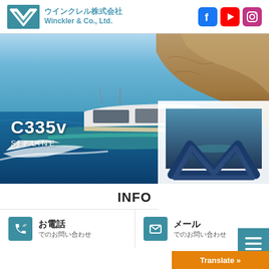[Figure (logo): Winckler & Co., Ltd. logo with teal W-shaped chevron mark, Japanese company name ウインクレル株式会社 and English Winckler & Co., Ltd.]
[Figure (logo): Social media icons: Facebook (blue), YouTube (red), Instagram (purple-pink)]
[Figure (photo): Hero image of SEALINE C335v motorboat speeding through blue ocean water with rocky cliffs in background. White text overlay shows model name C335v and brand SEALINE.]
[Figure (logo): Winckler & Co. logo watermark overlaid on lower-right of hero image area]
INFO
お電話 でのお問い合わせ
メール でのお問い合わせ